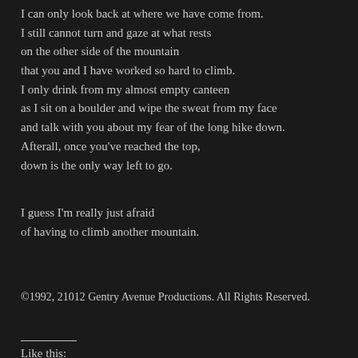I can only look back at where we have come from.
I still cannot turn and gaze at what rests
on the other side of the mountain
that you and I have worked so hard to climb.
I only drink from my almost empty canteen
as I sit on a boulder and wipe the sweat from my face
and talk with you about my fear of the long hike down.
Afterall, once you've reached the top,
down is the only way left to go.
I guess I'm really just afraid
of having to climb another mountain.
©1992, 21012 Gentry Avenue Productions. All Rights Reserved.
Like this: